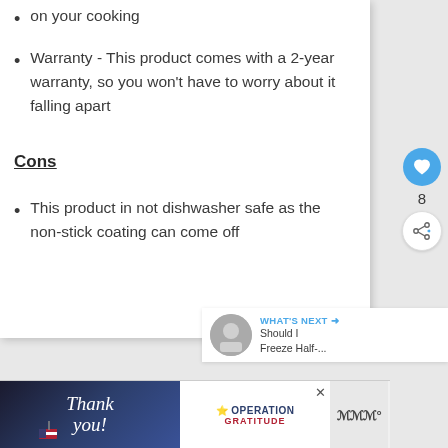on your cooking
Warranty - This product comes with a 2-year warranty, so you won't have to worry about it falling apart
Cons
This product in not dishwasher safe as the non-stick coating can come off
[Figure (infographic): Heart/like button with count 8 and share button on right side]
[Figure (infographic): What's Next panel showing thumbnail and text: Should I Freeze Half-...]
[Figure (infographic): Advertisement banner: Thank you Operation Gratitude ad with firefighters image]